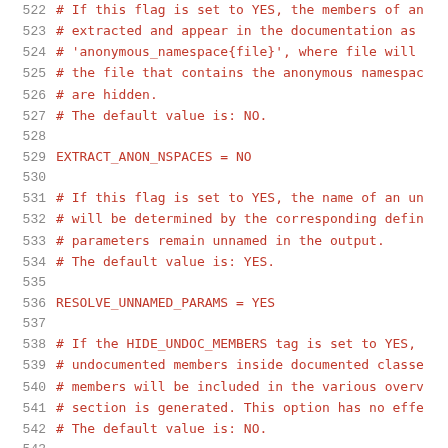522  # If this flag is set to YES, the members of an
523  # extracted and appear in the documentation as
524  # 'anonymous_namespace{file}', where file will
525  # the file that contains the anonymous namespac
526  # are hidden.
527  # The default value is: NO.
528
529  EXTRACT_ANON_NSPACES    = NO
530
531  # If this flag is set to YES, the name of an un
532  # will be determined by the corresponding defin
533  # parameters remain unnamed in the output.
534  # The default value is: YES.
535
536  RESOLVE_UNNAMED_PARAMS = YES
537
538  # If the HIDE_UNDOC_MEMBERS tag is set to YES,
539  # undocumented members inside documented classe
540  # members will be included in the various overv
541  # section is generated. This option has no effe
542  # The default value is: NO.
543